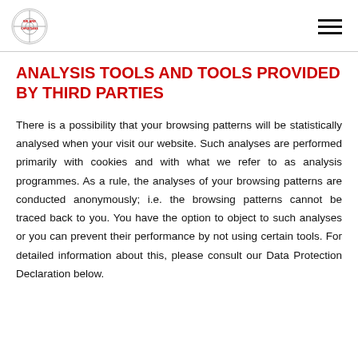We Are Christians logo and navigation menu
ANALYSIS TOOLS AND TOOLS PROVIDED BY THIRD PARTIES
There is a possibility that your browsing patterns will be statistically analysed when your visit our website. Such analyses are performed primarily with cookies and with what we refer to as analysis programmes. As a rule, the analyses of your browsing patterns are conducted anonymously; i.e. the browsing patterns cannot be traced back to you. You have the option to object to such analyses or you can prevent their performance by not using certain tools. For detailed information about this, please consult our Data Protection Declaration below.